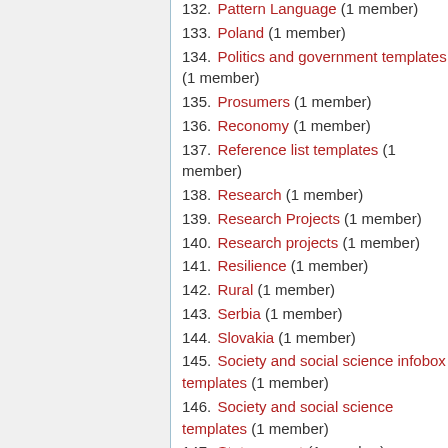132. Pattern Language (1 member)
133. Poland (1 member)
134. Politics and government templates (1 member)
135. Prosumers (1 member)
136. Reconomy (1 member)
137. Reference list templates (1 member)
138. Research (1 member)
139. Research Projects (1 member)
140. Research projects (1 member)
141. Resilience (1 member)
142. Rural (1 member)
143. Serbia (1 member)
144. Slovakia (1 member)
145. Society and social science infobox templates (1 member)
146. Society and social science templates (1 member)
147. Status report (1 member)